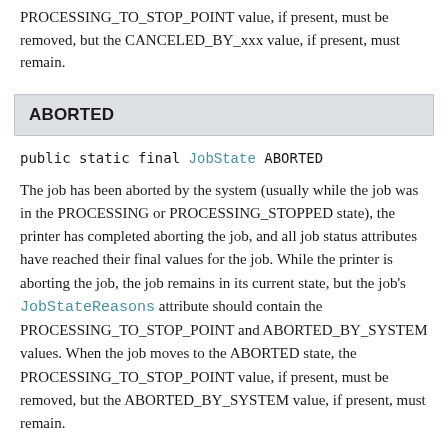PROCESSING_TO_STOP_POINT value, if present, must be removed, but the CANCELED_BY_xxx value, if present, must remain.
ABORTED
public static final JobState ABORTED
The job has been aborted by the system (usually while the job was in the PROCESSING or PROCESSING_STOPPED state), the printer has completed aborting the job, and all job status attributes have reached their final values for the job. While the printer is aborting the job, the job remains in its current state, but the job's JobStateReasons attribute should contain the PROCESSING_TO_STOP_POINT and ABORTED_BY_SYSTEM values. When the job moves to the ABORTED state, the PROCESSING_TO_STOP_POINT value, if present, must be removed, but the ABORTED_BY_SYSTEM value, if present, must remain.